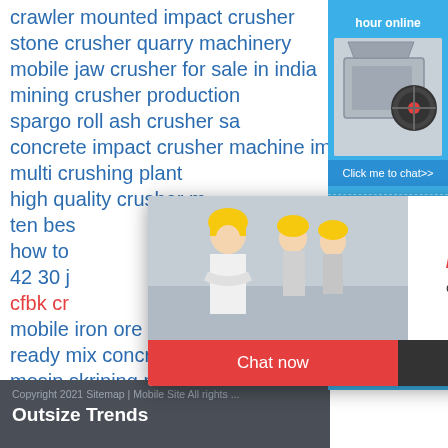crawler mounted impact crusher
stone crusher quarry machinery
mobile jaw crusher for sale in india
mining crusher production
spargo roll ash crusher sa
concrete impact crusher machine impact crusher
multi crushing plant
high qu[...]
ten bes[...]
how to[...]
42 30 j[...]
cfbk cr[...]
mobile iron ore cone crusher for hi[...]
ready mix concrete plant project re[...]
mesin skrining pasir sungai
[Figure (screenshot): Live chat overlay popup with workers photo, LIVE CHAT heading in red italic, 'Click for a Free Consultation' subtitle, red 'Chat now' button and dark 'Chat later' button]
[Figure (screenshot): Right sidebar with blue background showing 'hour online', crusher machine image, 'Click me to chat>>' button, 'Enquiry' heading, and 'limingjlmofen' text]
Copyright 2021 Sitemap | Mobile Site All rights ...